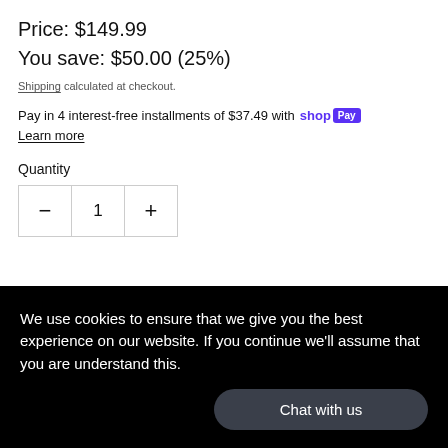Price: $149.99
You save: $50.00 (25%)
Shipping calculated at checkout.
Pay in 4 interest-free installments of $37.49 with shop Pay  Learn more
Quantity
We use cookies to ensure that we give you the best experience on our website. If you continue we'll assume that you are understand this.
Chat with us